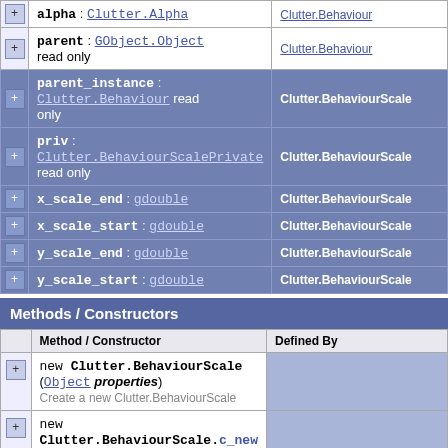|  | Field / Constructor | Defined By |
| --- | --- | --- |
| [+] | alpha : Clutter.Alpha | Clutter.Behaviour |
| [+] | parent : GObject.Object
read only | Clutter.Behaviour |
| [+] | parent_instance : Clutter.Behaviour read only | Clutter.BehaviourScale |
| [+] | priv : Clutter.BehaviourScalePrivate read only | Clutter.BehaviourScale |
| [+] | x_scale_end : gdouble | Clutter.BehaviourScale |
| [+] | x_scale_start : gdouble | Clutter.BehaviourScale |
| [+] | y_scale_end : gdouble | Clutter.BehaviourScale |
| [+] | y_scale_start : gdouble | Clutter.BehaviourScale |
Methods / Constructors
|  | Method / Constructor | Defined By |
| --- | --- | --- |
| [+] | new Clutter.BehaviourScale (Object properties)
Create a new Clutter.BehaviourScale |  |
| [+] | new Clutter.BehaviourScale.c_new |  |